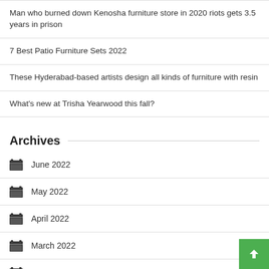Man who burned down Kenosha furniture store in 2020 riots gets 3.5 years in prison
7 Best Patio Furniture Sets 2022
These Hyderabad-based artists design all kinds of furniture with resin
What's new at Trisha Yearwood this fall?
Archives
June 2022
May 2022
April 2022
March 2022
February 2022